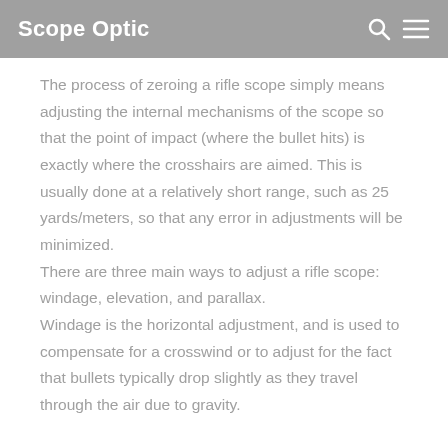Scope Optic
The process of zeroing a rifle scope simply means adjusting the internal mechanisms of the scope so that the point of impact (where the bullet hits) is exactly where the crosshairs are aimed. This is usually done at a relatively short range, such as 25 yards/meters, so that any error in adjustments will be minimized.
There are three main ways to adjust a rifle scope: windage, elevation, and parallax.
Windage is the horizontal adjustment, and is used to compensate for a crosswind or to adjust for the fact that bullets typically drop slightly as they travel through the air due to gravity.